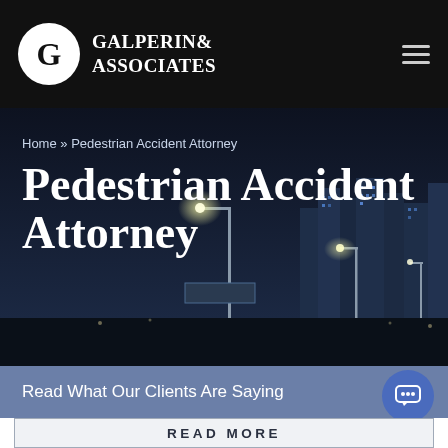GALPERIN & ASSOCIATES
Home » Pedestrian Accident Attorney
Pedestrian Accident Attorney
[Figure (photo): Night city skyline background with street lights and tall building silhouettes]
Read What Our Clients Are Saying
READ MORE